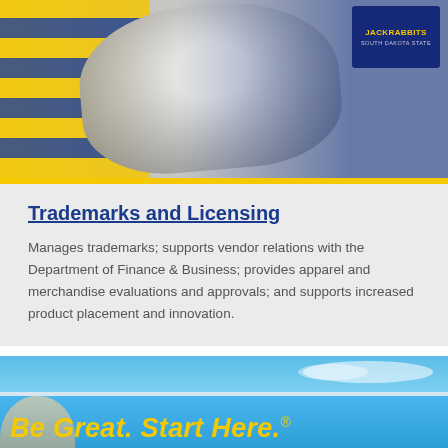[Figure (photo): South Dakota State University Jackrabbits branded apparel including a striped yellow and blue garment and a grey sweatshirt with Jackrabbits logo]
Trademarks and Licensing
Manages trademarks; supports vendor relations with the Department of Finance & Business; provides apparel and merchandise evaluations and approvals; and supports increased product placement and innovation.
[Figure (photo): Blue sky with clouds background and 'Be Great. Start Here.' slogan in yellow bold italic text, South Dakota State University recruitment image]